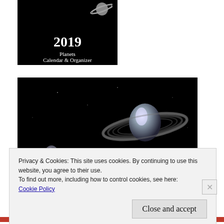[Figure (illustration): Small black book cover thumbnail showing '2019 Planets Calendar & Organizer' with a ringed planet (Saturn) illustration on a black background]
[Figure (illustration): Large black background space illustration showing a ringed planet (Saturn-like) in the center-right glowing with light, and a smaller ringed planet in the lower-left, both against a dark/black space background]
Privacy & Cookies: This site uses cookies. By continuing to use this website, you agree to their use.
To find out more, including how to control cookies, see here:
Cookie Policy
Close and accept